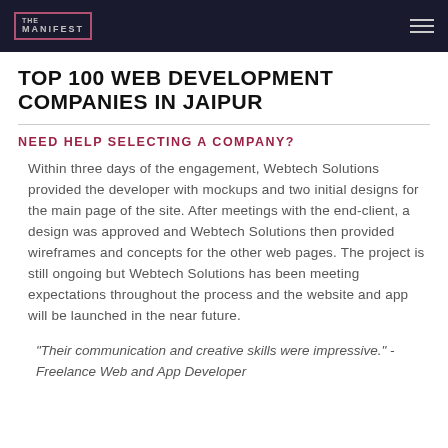THE MANIFEST
TOP 100 WEB DEVELOPMENT COMPANIES IN JAIPUR
NEED HELP SELECTING A COMPANY?
Within three days of the engagement, Webtech Solutions provided the developer with mockups and two initial designs for the main page of the site. After meetings with the end-client, a design was approved and Webtech Solutions then provided wireframes and concepts for the other web pages. The project is still ongoing but Webtech Solutions has been meeting expectations throughout the process and the website and app will be launched in the near future.
"Their communication and creative skills were impressive." - Freelance Web and App Developer